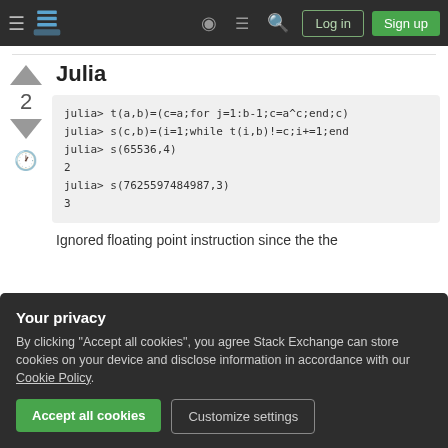Stack Exchange navigation bar with Log in and Sign up buttons
Julia
julia> t(a,b)=(c=a;for j=1:b-1;c=a^c;end;c)
julia> s(c,b)=(i=1;while t(i,b)!=c;i+=1;end
julia> s(65536,4)
2
julia> s(7625597484987,3)
3
Ignored floating point instruction since the the
Your privacy
By clicking "Accept all cookies", you agree Stack Exchange can store cookies on your device and disclose information in accordance with our Cookie Policy.
Accept all cookies
Customize settings